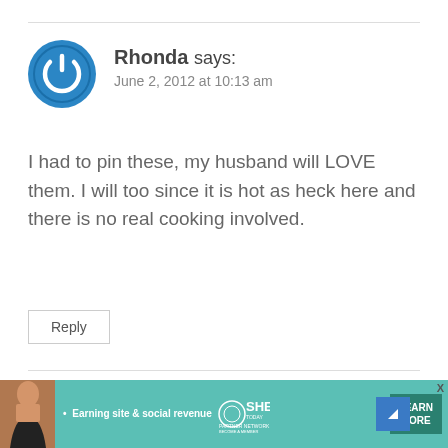Rhonda says: June 2, 2012 at 10:13 am
I had to pin these, my husband will LOVE them. I will too since it is hot as heck here and there is no real cooking involved.
Reply
mia xara says: June 2, 2012 at 8:59 pm
[Figure (infographic): SHE Partner Network advertisement banner with teal background, woman photo, bullet text 'Earning site & social revenue', SHE logo, and Learn More button]